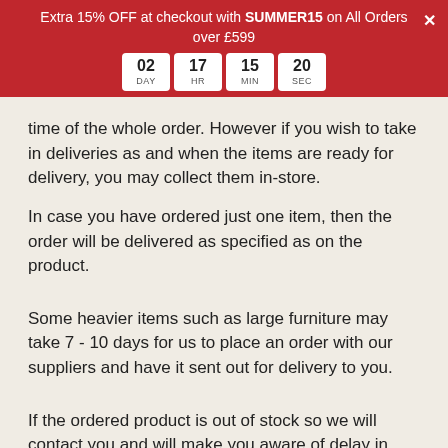Extra 15% OFF at checkout with SUMMER15 on All Orders over £599
time of the whole order. However if you wish to take in deliveries as and when the items are ready for delivery, you may collect them in-store.
In case you have ordered just one item, then the order will be delivered as specified as on the product.
Some heavier items such as large furniture may take 7 - 10 days for us to place an order with our suppliers and have it sent out for delivery to you.
If the ordered product is out of stock so we will contact you and will make you aware of delay in delivery time.
Will you call me before you come to deliver my order?
At ImagineX we understand what a customer wants and the difficulty they face spending a whole day looking out of the